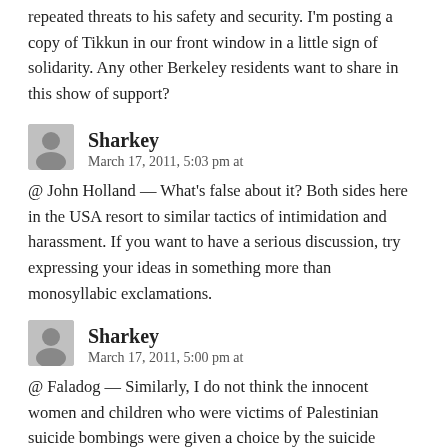repeated threats to his safety and security. I'm posting a copy of Tikkun in our front window in a little sign of solidarity. Any other Berkeley residents want to share in this show of support?
Sharkey
March 17, 2011, 5:03 pm at
@ John Holland — What's false about it? Both sides here in the USA resort to similar tactics of intimidation and harassment. If you want to have a serious discussion, try expressing your ideas in something more than monosyllabic exclamations.
Sharkey
March 17, 2011, 5:00 pm at
@ Faladog — Similarly, I do not think the innocent women and children who were victims of Palestinian suicide bombings were given a choice by the suicide bombers either.